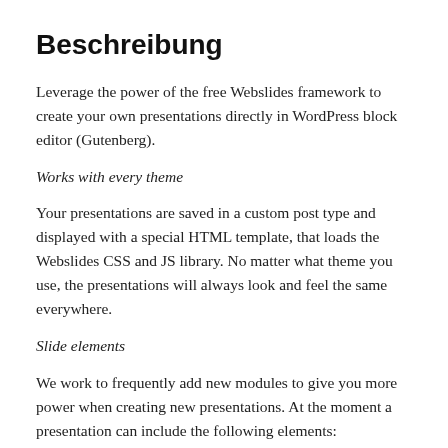Beschreibung
Leverage the power of the free Webslides framework to create your own presentations directly in WordPress block editor (Gutenberg).
Works with every theme
Your presentations are saved in a custom post type and displayed with a special HTML template, that loads the Webslides CSS and JS library. No matter what theme you use, the presentations will always look and feel the same everywhere.
Slide elements
We work to frequently add new modules to give you more power when creating new presentations. At the moment a presentation can include the following elements: